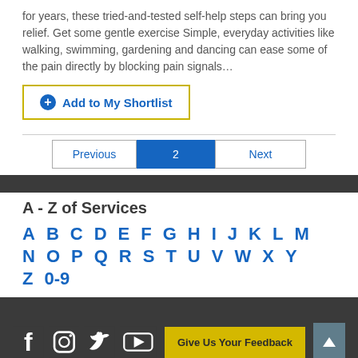for years, these tried-and-tested self-help steps can bring you relief. Get some gentle exercise Simple, everyday activities like walking, swimming, gardening and dancing can ease some of the pain directly by blocking pain signals…
Add to My Shortlist
Previous  2  Next
A - Z of Services
A B C D E F G H I J K L M N O P Q R S T U V W X Y Z 0-9
[Figure (infographic): Social media icons: Facebook, Instagram, Twitter, YouTube]
Give Us Your Feedback